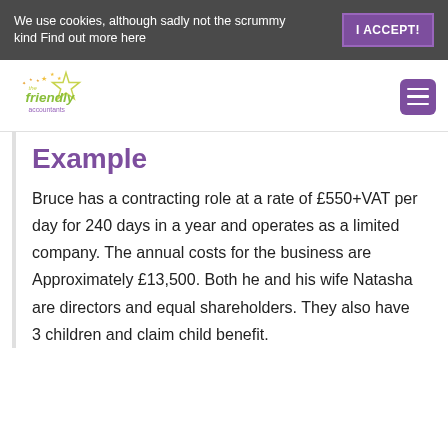We use cookies, although sadly not the scrummy kind Find out more here | I ACCEPT!
[Figure (logo): The Friendly Accountants logo with stars and green/purple text]
Example
Bruce has a contracting role at a rate of £550+VAT per day for 240 days in a year and operates as a limited company. The annual costs for the business are Approximately £13,500. Both he and his wife Natasha are directors and equal shareholders. They also have 3 children and claim child benefit.